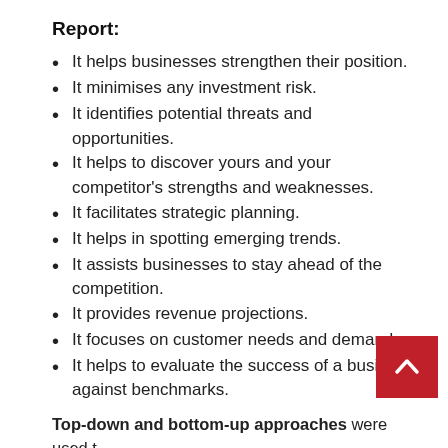Report:
It helps businesses strengthen their position.
It minimises any investment risk.
It identifies potential threats and opportunities.
It helps to discover yours and your competitor's strengths and weaknesses.
It facilitates strategic planning.
It helps in spotting emerging trends.
It assists businesses to stay ahead of the competition.
It provides revenue projections.
It focuses on customer needs and demands.
It helps to evaluate the success of a business against benchmarks.
Top-down and bottom-up approaches were used to validate the size of the global Nanosilver market and estimate the size of various other dependent